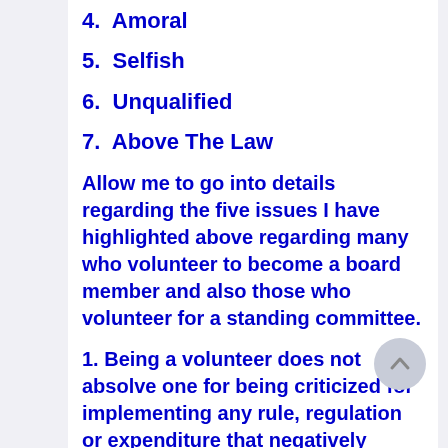4.  Amoral
5.  Selfish
6.  Unqualified
7.  Above The Law
Allow me to go into details regarding the five issues I have highlighted above regarding many who volunteer to become a board member and also those who volunteer for a standing committee.
1. Being a volunteer does not absolve one for being criticized for implementing any rule, regulation or expenditure that negatively impacts the homeowners and hurts them. They